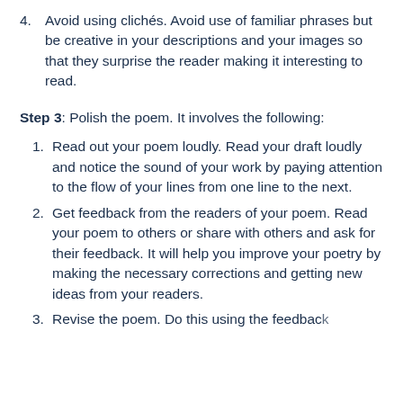4. Avoid using clichés. Avoid use of familiar phrases but be creative in your descriptions and your images so that they surprise the reader making it interesting to read.
Step 3: Polish the poem. It involves the following:
1. Read out your poem loudly. Read your draft loudly and notice the sound of your work by paying attention to the flow of your lines from one line to the next.
2. Get feedback from the readers of your poem. Read your poem to others or share with others and ask for their feedback. It will help you improve your poetry by making the necessary corrections and getting new ideas from your readers.
3. Revise the poem. Do this using the feedback...